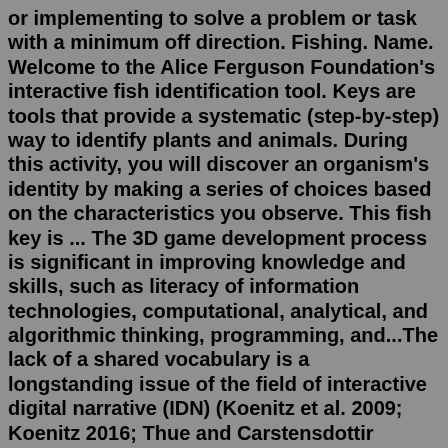or implementing to solve a problem or task with a minimum off direction. Fishing. Name. Welcome to the Alice Ferguson Foundation's interactive fish identification tool. Keys are tools that provide a systematic (step-by-step) way to identify plants and animals. During this activity, you will discover an organism's identity by making a series of choices based on the characteristics you observe. This fish key is ... The 3D game development process is significant in improving knowledge and skills, such as literacy of information technologies, computational, analytical, and algorithmic thinking, programming, and...The lack of a shared vocabulary is a longstanding issue of the field of interactive digital narrative (IDN) (Koenitz et al. 2009; Koenitz 2016; Thue and Carstensdottir 2018).The root of this problem is the fact that scholars and practitioners concerned with the topic of interactive narrative originate in a number of different fields, including literature studies, film studies, computer ...moove GO is the APP for producing the virtual holiday maker on the